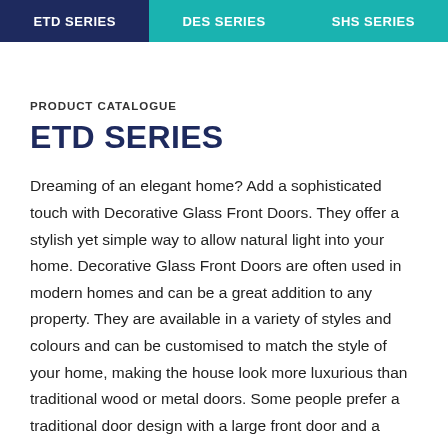ETD SERIES | DES SERIES | SHS SERIES
PRODUCT CATALOGUE
ETD SERIES
Dreaming of an elegant home? Add a sophisticated touch with Decorative Glass Front Doors. They offer a stylish yet simple way to allow natural light into your home. Decorative Glass Front Doors are often used in modern homes and can be a great addition to any property. They are available in a variety of styles and colours and can be customised to match the style of your home, making the house look more luxurious than traditional wood or metal doors. Some people prefer a traditional door design with a large front door and a